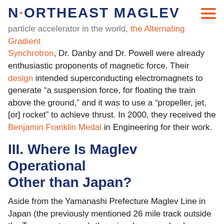NORTHEAST MAGLEV
particle accelerator in the world, the Alternating Gradient Synchrotron, Dr. Danby and Dr. Powell were already enthusiastic proponents of magnetic force. Their design intended superconducting electromagnets to generate “a suspension force, for floating the train above the ground,” and it was to use a “propeller, jet, [or] rocket” to achieve thrust. In 2000, they received the Benjamin Franklin Medal in Engineering for their work.
III. Where Is Maglev Operational Other than Japan?
Aside from the Yamanashi Prefecture Maglev Line in Japan (the previously mentioned 26 mile track outside the Tokyo metro area), there is a low speed, urban maglev system,